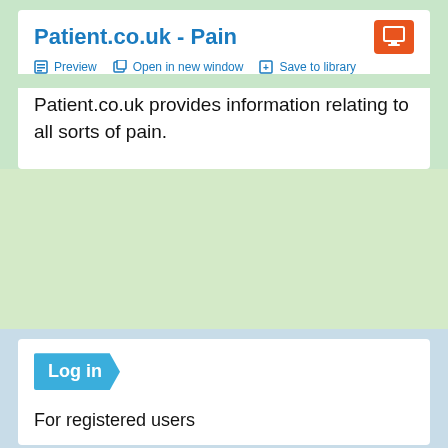Patient.co.uk - Pain
Preview  Open in new window  Save to library
Patient.co.uk provides information relating to all sorts of pain.
[Figure (screenshot): Log in arrow badge button]
For registered users
How do I register?